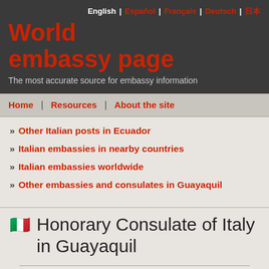World embassy page — The most accurate source for embassy information
English | Español | Français | Deutsch | 日本語
Home | Resources | About the site
» Other Italian posts in Ecuador
» Italian embassies in nearby countries
» Italian embassies worldwide
» Other embassies and consulates in Guayaquil
Honorary Consulate of Italy in Guayaquil